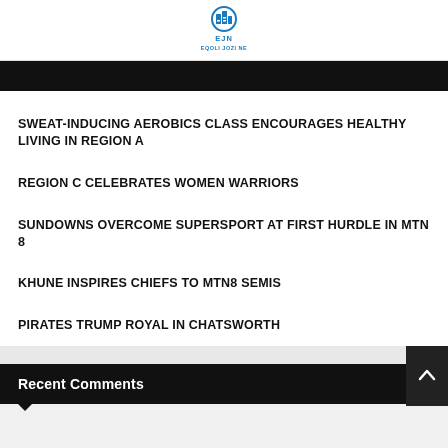EJN EQOLI JOZI NE
SWEAT-INDUCING AEROBICS CLASS ENCOURAGES HEALTHY LIVING IN REGION A
REGION C CELEBRATES WOMEN WARRIORS
SUNDOWNS OVERCOME SUPERSPORT AT FIRST HURDLE IN MTN 8
KHUNE INSPIRES CHIEFS TO MTN8 SEMIS
PIRATES TRUMP ROYAL IN CHATSWORTH
Recent Comments